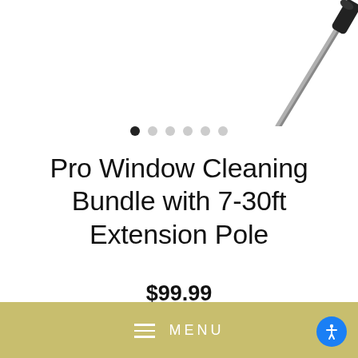[Figure (illustration): Extension pole illustration — a thin telescoping pole shown diagonally from upper-right corner, with a black handle/end-tip at the bottom-right]
• • • • • •  (image carousel navigation dots, first dot active)
Pro Window Cleaning Bundle with 7-30ft Extension Pole
$99.99
Pole Size
12ft   24ft (Out of Stock)   30ft
MENU